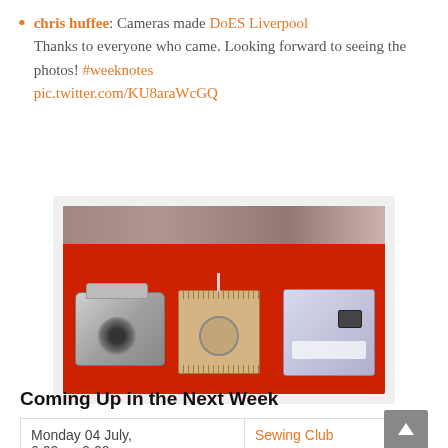chris huffee: Cameras made DoES Liverpool Thanks to everyone who came. Looking forward to seeing the photos! #weeknotes pic.twitter.com/KU8araWcGQ
[Figure (photo): Photo of three handmade cameras on a red table surface: a silver SLR-style paper camera on the left, a wooden laser-cut box camera in the center, and a reflective box camera on the right.]
Coming Up in the Next Week
| Monday 04 July,
6:00pm-9:00pm | Sewing Club |